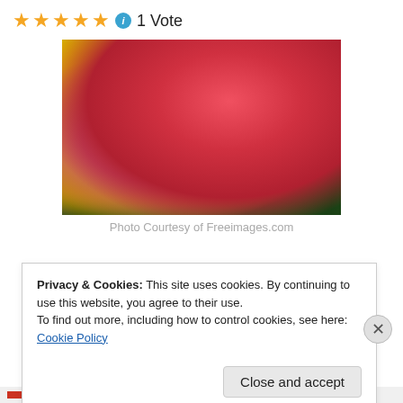★★★★★ ℹ 1 Vote
[Figure (photo): Close-up photo of colorful tulips — pink/red and yellow tulips with green leaves against a blue background]
Photo Courtesy of Freeimages.com
Privacy & Cookies: This site uses cookies. By continuing to use this website, you agree to their use. To find out more, including how to control cookies, see here: Cookie Policy
Close and accept